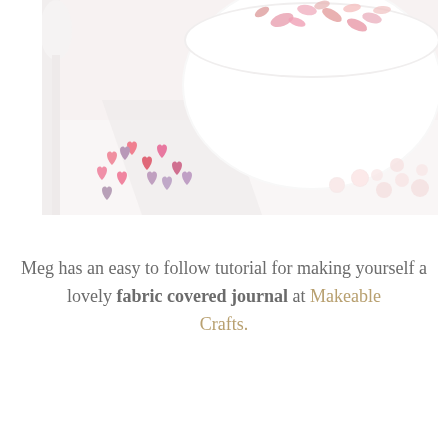[Figure (photo): Close-up photo of a white ceramic mortar or bowl filled with pink flower petals or confetti, with scattered pink heart-shaped sequins/petals and pink pearl beads on a white surface beside it. A white spoon or utensil is visible on the left side.]
Meg has an easy to follow tutorial for making yourself a lovely fabric covered journal at Makeable Crafts.